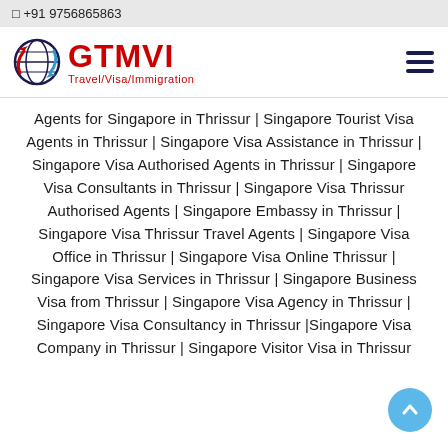□ +91 9756865863
[Figure (logo): GTMVI Travel/Visa/Immigration logo with globe icon]
Agents for Singapore in Thrissur | Singapore Tourist Visa Agents in Thrissur | Singapore Visa Assistance in Thrissur | Singapore Visa Authorised Agents in Thrissur | Singapore Visa Consultants in Thrissur | Singapore Visa Thrissur Authorised Agents | Singapore Embassy in Thrissur | Singapore Visa Thrissur Travel Agents | Singapore Visa Office in Thrissur | Singapore Visa Online Thrissur | Singapore Visa Services in Thrissur | Singapore Business Visa from Thrissur | Singapore Visa Agency in Thrissur | Singapore Visa Consultancy in Thrissur |Singapore Visa Company in Thrissur | Singapore Visitor Visa in Thrissur